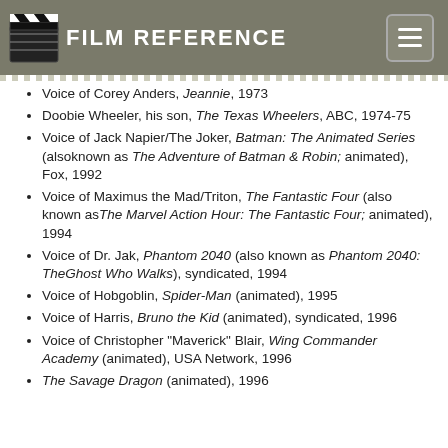FILM REFERENCE
Voice of Corey Anders, Jeannie, 1973
Doobie Wheeler, his son, The Texas Wheelers, ABC, 1974-75
Voice of Jack Napier/The Joker, Batman: The Animated Series (alsoknown as The Adventure of Batman & Robin; animated), Fox, 1992
Voice of Maximus the Mad/Triton, The Fantastic Four (also known asThe Marvel Action Hour: The Fantastic Four; animated), 1994
Voice of Dr. Jak, Phantom 2040 (also known as Phantom 2040: TheGhost Who Walks), syndicated, 1994
Voice of Hobgoblin, Spider-Man (animated), 1995
Voice of Harris, Bruno the Kid (animated), syndicated, 1996
Voice of Christopher "Maverick" Blair, Wing Commander Academy (animated), USA Network, 1996
The Savage Dragon (animated), 1996